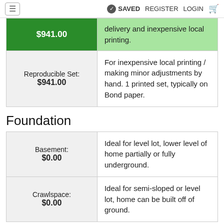≡  SAVED  REGISTER  LOGIN  🛒
| $941.00 | delivery and inexpensive local printing. |
| Reproducible Set: $941.00 | For inexpensive local printing / making minor adjustments by hand. 1 printed set, typically on Bond paper. |
Foundation
| Basement: $0.00 | Ideal for level lot, lower level of home partially or fully underground. |
| Crawlspace: $0.00 | Ideal for semi-sloped or level lot, home can be built off of ground. |